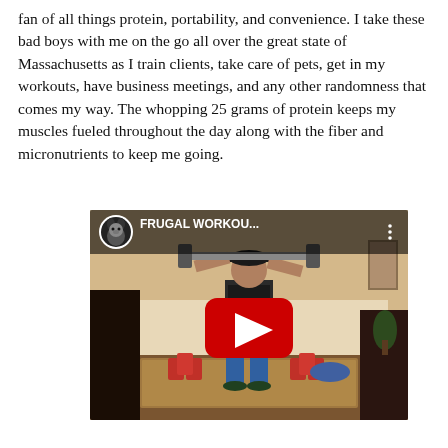fan of all things protein, portability, and convenience. I take these bad boys with me on the go all over the great state of Massachusetts as I train clients, take care of pets, get in my workouts, have business meetings, and any other randomness that comes my way. The whopping 25 grams of protein keeps my muscles fueled throughout the day along with the fiber and micronutrients to keep me going.
[Figure (screenshot): Embedded YouTube video thumbnail showing a man lifting a barbell overhead in a home setting with red protein powder cans on the floor. The video title reads 'FRUGAL WORKOU...' with a YouTube channel icon (dog logo) and a large red play button in the center.]